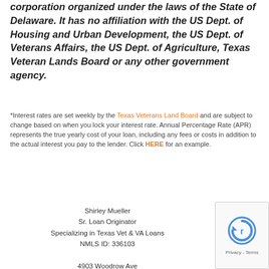corporation organized under the laws of the State of Delaware. It has no affiliation with the US Dept. of Housing and Urban Development, the US Dept. of Veterans Affairs, the US Dept. of Agriculture, Texas Veteran Lands Board or any other government agency.
*Interest rates are set weekly by the Texas Veterans Land Board and are subject to change based on when you lock your interest rate. Annual Percentage Rate (APR) represents the true yearly cost of your loan, including any fees or costs in addition to the actual interest you pay to the lender. Click HERE for an example.
Shirley Mueller
Sr. Loan Originator
Specializing in Texas Vet & VA Loans
NMLS ID: 336103

4903 Woodrow Ave
Austin, TX 78756
[Figure (other): reCAPTCHA privacy badge with circular arrow icon and Privacy - Terms text]